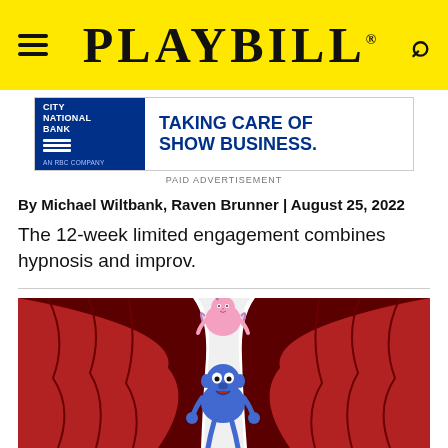PLAYBILL
[Figure (other): City National Bank advertisement — 'TAKING CARE OF SHOW BUSINESS.']
PAID ADVERTISEMENT
By Michael Wiltbank, Raven Brunner | August 25, 2022
The 12-week limited engagement combines hypnosis and improv.
[Figure (photo): Sesame Street Muppet characters — Abby Cadabby and Grover — peeking through red theater curtains.]